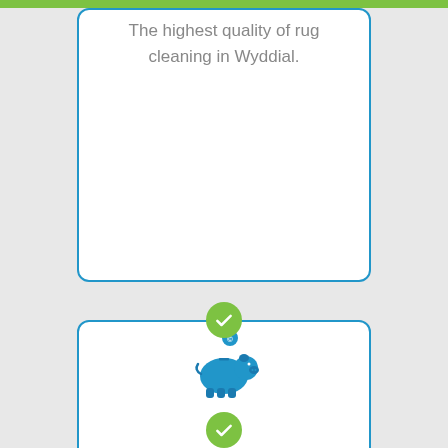The highest quality of rug cleaning in Wyddial.
[Figure (illustration): Blue piggy bank icon with a coin being inserted on top]
Our specialist rug cleaning facility is state-of-the-art.